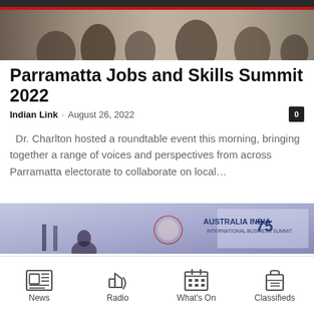[Figure (photo): Top photo showing people at an event, dark background with silhouettes of attendees]
Parramatta Jobs and Skills Summit 2022
Indian Link  –  August 26, 2022
Dr. Charlton hosted a roundtable event this morning, bringing together a range of voices and perspectives from across Parramatta electorate to collaborate on local…
[Figure (photo): Photo of Australia India International Business Summit event with logo and signage, 75th anniversary, Four Seasons Sydney]
News  Radio  What's On  Classifieds